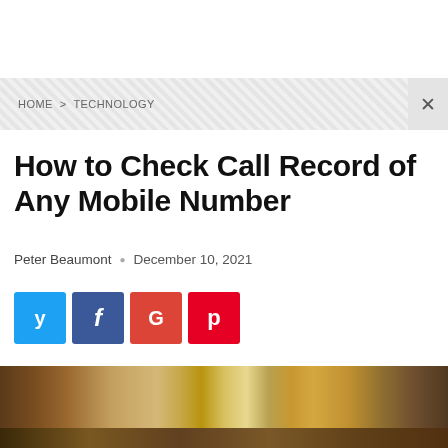HOME > TECHNOLOGY
How to Check Call Record of Any Mobile Number
Peter Beaumont · December 10, 2021
[Figure (other): Social share buttons: Twitter (blue), Facebook (dark blue), Google+ (red-orange), Pinterest (red)]
[Figure (photo): Partial hero image showing a blurred warm-toned background, appears to be a person or object in earthy/golden tones]